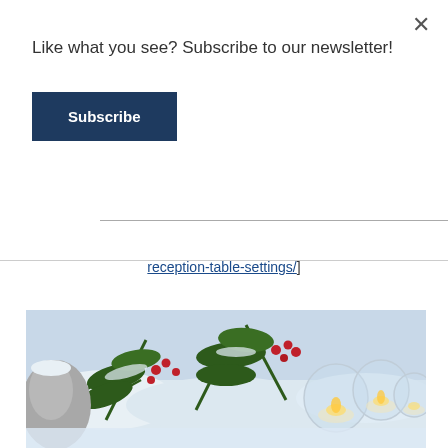Like what you see? Subscribe to our newsletter!
Subscribe
[photo credit: http://boards.weddingbee.com/topic/show-me-your-reception-table-settings/]
[Figure (photo): Winter wedding centerpiece with pine branches, red berries covered in snow, and glass candle holders with lit candles]